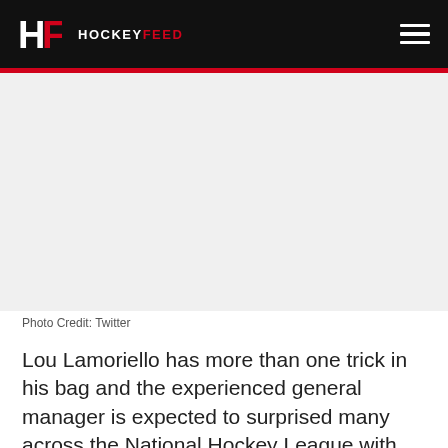HF HOCKEYFEED
[Figure (photo): Gray placeholder image area representing a photo]
Photo Credit: Twitter
Lou Lamoriello has more than one trick in his bag and the experienced general manager is expected to surprised many across the National Hockey League with his latest strategy.
Earlier this summer, it was reported by Frank Seravelli of Daily Face-off that a few